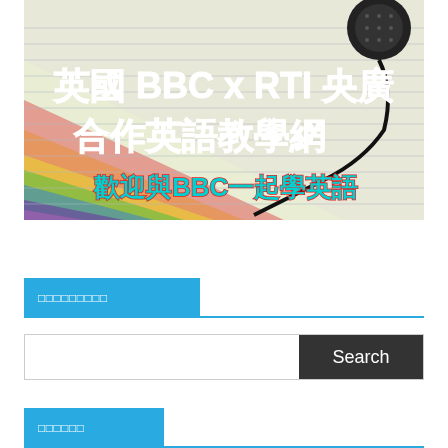[Figure (illustration): Banner image for BBC x RTI English learning website. Background shows colorful pencil-drawn lines (rainbow colors) with notebook paper lines. A black earbud/headphone is visible on the right. White Chinese text reads: 英國 BBC x RTI 央廣 合作英語教學網 (UK BBC x RTI Central Radio English Teaching Network). Red-outlined cyan Chinese text reads: 歡迎與BBC一起學英語 (Welcome to learn English with BBC).]
□□□□□□□□□
□□□□□□